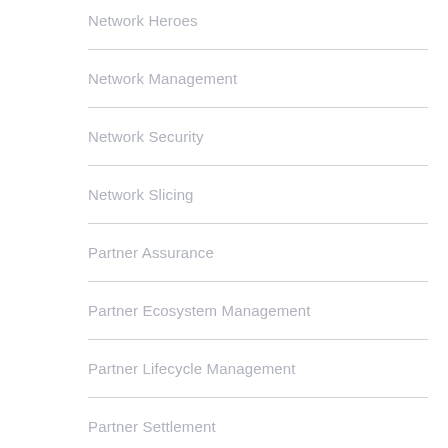Network Heroes
Network Management
Network Security
Network Slicing
Partner Assurance
Partner Ecosystem Management
Partner Lifecycle Management
Partner Settlement
Regulations